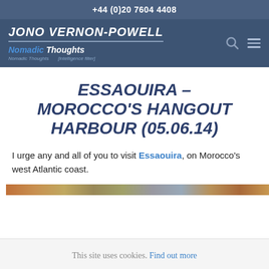+44 (0)20 7604 4408
[Figure (logo): Jono Vernon-Powell / Nomadic Thoughts website header logo with navigation icons]
ESSAOUIRA – MOROCCO'S HANGOUT HARBOUR (05.06.14)
I urge any and all of you to visit Essaouira, on Morocco's west Atlantic coast.
[Figure (photo): Partial image strip showing colourful scene, cropped at bottom of visible area]
This site uses cookies. Find out more